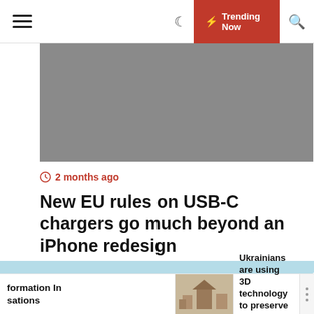Menu | Moon | Trending Now | Search
[Figure (photo): Gray placeholder image for an article about EU USB-C charger rules]
2 months ago
New EU rules on USB-C chargers go much beyond an iPhone redesign
[Figure (photo): Tile tracking devices - a dark gray Tile Mate and a white Tile Mate against a light blue background]
formation In sations
[Figure (photo): Small thumbnail image of a building or historical structure]
Ukrainians are using 3D technology to preserve hundreds of cultural...